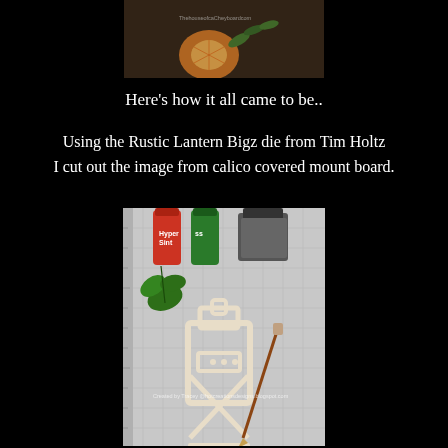[Figure (photo): A photo showing a dried orange slice and some greenery/herbs on a surface, with partial watermark text visible]
Here's how it all came to be..
Using the Rustic Lantern Bigz die from Tim Holtz I cut out the image from calico covered mount board.
[Figure (photo): A craft workspace photo showing a rustic lantern die cut shape made from calico-covered mount board, alongside paint bottles (red and green), a black ink container, a green leaf, and a fine paintbrush, on a gridded cutting mat. Watermark reads: Created by Tracey @hotcreationsdesigns.blogspot.com]